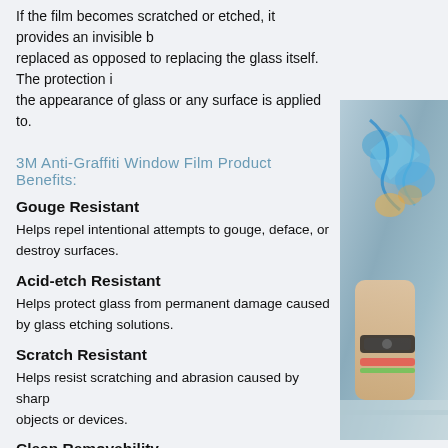If the film becomes scratched or etched, it provides an invisible barrier that can be replaced as opposed to replacing the glass itself. The protection is designed to enhance the appearance of glass or any surface is applied to.
3M Anti-Graffiti Window Film Product Benefits:
Gouge Resistant
Helps repel intentional attempts to gouge, deface, or destroy surfaces.
Acid-etch Resistant
Helps protect glass from permanent damage caused by glass etching solutions.
Scratch Resistant
Helps resist scratching and abrasion caused by sharp objects or devices.
Clean Removability
Adheres clearly and firmly to glass, but can be removed leaving li
[Figure (photo): Partial photo visible on right side showing a person with colorful graffiti art visible in the background, cropped at page edge.]